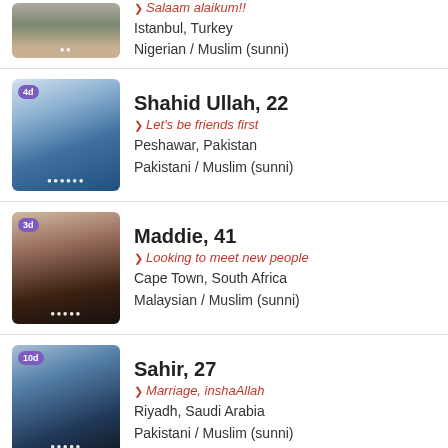[Figure (photo): Partial profile photo of first user, cropped at top]
Salaam alaikum!!
Istanbul, Turkey
Nigerian / Muslim (sunni)
[Figure (photo): Profile photo of Shahid Ullah, young man with blue shirt]
Shahid Ullah, 22
Let's be friends first
Peshawar, Pakistan
Pakistani / Muslim (sunni)
[Figure (photo): Profile photo of Maddie, woman with dark hair]
Maddie, 41
Looking to meet new people
Cape Town, South Africa
Malaysian / Muslim (sunni)
[Figure (photo): Profile photo of Sahir, man in blue shirt standing]
Sahir, 27
Marriage, inshaAllah
Riyadh, Saudi Arabia
Pakistani / Muslim (sunni)
Register with the best Sunni dating site on the Web and start browsing profiles. It only takes a few seconds.